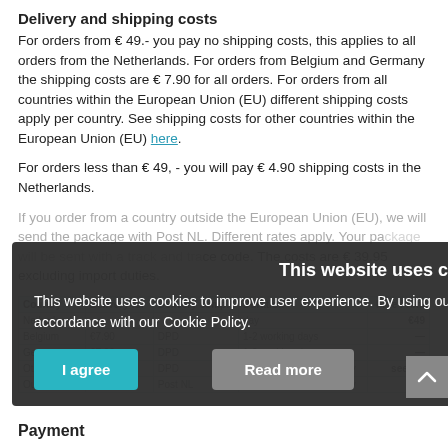Delivery and shipping costs
For orders from € 49.- you pay no shipping costs, this applies to all orders from the Netherlands. For orders from Belgium and Germany the shipping costs are € 7.90 for all orders. For orders from all countries within the European Union (EU) different shipping costs apply per country. See shipping costs for other countries within the European Union (EU) here.
For orders less than € 49, - you will pay € 4.90 shipping costs in the Netherlands.
If you order from a country outside the European Union (EU), we will send the package with Post NL. Different rates apply. Your package will be sent with a track and trace code. The costs are € 39.95 excluding import duties.
| Country | Delivery for | Delivery comp. | Duration | Free From |
| --- | --- | --- | --- | --- |
| Netherlands |  |  | day | €49 |
| Belgium | €7.90 | DPD | 1-2 working days | — |
| Germany | €7.90 | DPD | 1-2 working days | — |
| Other EU | See list | DPD | depending on the country | see list |
| Outside EU | €39.95 | Post NL | depending on the country | — |
[Figure (other): Cookie consent overlay with title 'This website uses cookies', body text, and two buttons: 'I agree' and 'Read more']
Payment